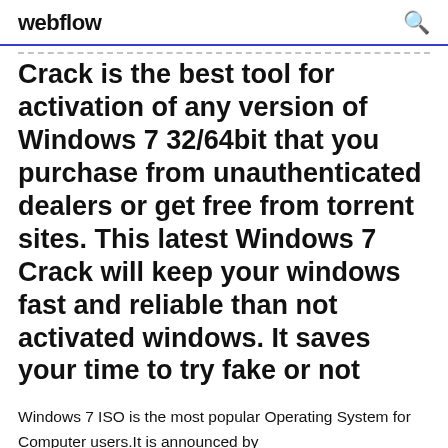webflow
Crack is the best tool for activation of any version of Windows 7 32/64bit that you purchase from unauthenticated dealers or get free from torrent sites. This latest Windows 7 Crack will keep your windows fast and reliable than not activated windows. It saves your time to try fake or not
Windows 7 ISO is the most popular Operating System for Computer users.It is announced by